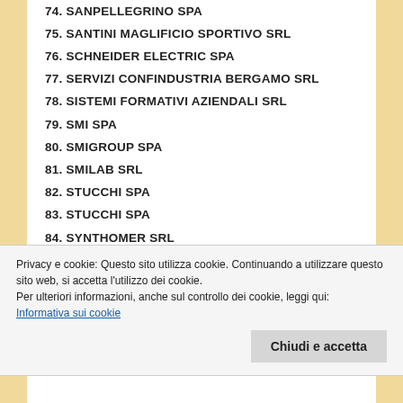74. SANPELLEGRINO SPA
75. SANTINI MAGLIFICIO SPORTIVO SRL
76. SCHNEIDER ELECTRIC SPA
77. SERVIZI CONFINDUSTRIA BERGAMO SRL
78. SISTEMI FORMATIVI AZIENDALI SRL
79. SMI SPA
80. SMIGROUP SPA
81. SMILAB SRL
82. STUCCHI SPA
83. STUCCHI SPA
84. SYNTHOMER SRL
85. TESSITURE PIETRO RADICI SPA
86. UNIMPIEGO BERGAMO SRL
87. VANONCINI SPA
88. VES SERVIZI FINANZIARI SPA
Privacy e cookie: Questo sito utilizza cookie. Continuando a utilizzare questo sito web, si accetta l'utilizzo dei cookie.
Per ulteriori informazioni, anche sul controllo dei cookie, leggi qui:
Informativa sui cookie
Chiudi e accetta